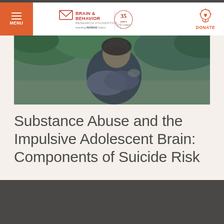MENU | BRAIN & BEHAVIOR RESEARCH FOUNDATION — Awarding NARSAD Grants | 35 years | DONATE
[Figure (photo): A person sitting on a bench outdoors, knees drawn up, wearing dark clothing, with green foliage in background — suggesting distress or contemplation]
Substance Abuse and the Impulsive Adolescent Brain: Components of Suicide Risk
Read more >